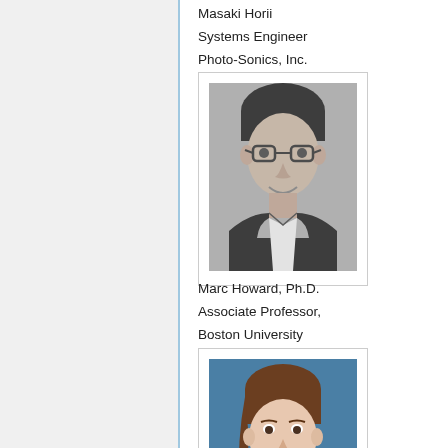Masaki Horii
Systems Engineer
Photo-Sonics, Inc.
[Figure (photo): Black and white headshot of a man wearing glasses and a dark jacket with white shirt, smiling]
Marc Howard, Ph.D.
Associate Professor,
Boston University
[Figure (photo): Color photo of a woman with brown hair pulled back, wearing a light colored top, smiling, against a blue background]